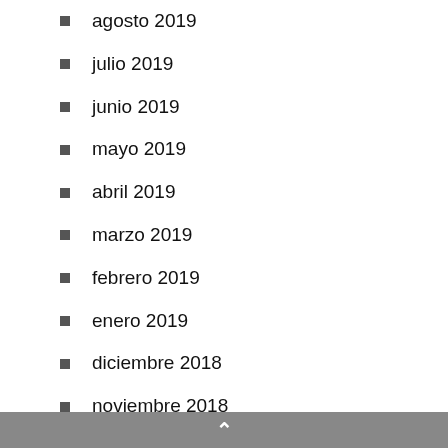agosto 2019
julio 2019
junio 2019
mayo 2019
abril 2019
marzo 2019
febrero 2019
enero 2019
diciembre 2018
noviembre 2018
octubre 2018